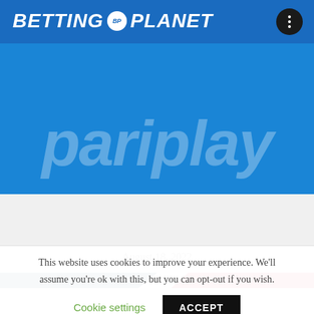BETTING BP PLANET
[Figure (photo): Pariplay brand image with large stylized text on a blue background]
Pariplay licensed to operate in Pennsylvania iGaming market
August 18, 2022
This website uses cookies to improve your experience. We'll assume you're ok with this, but you can opt-out if you wish.
Cookie settings   ACCEPT